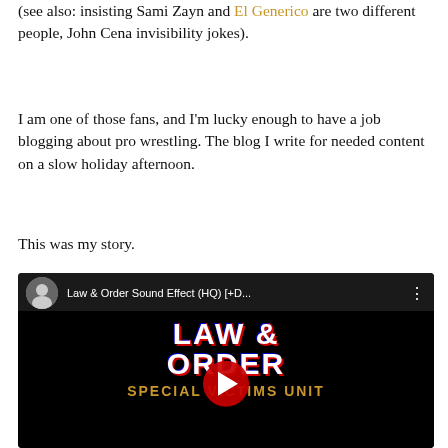(see also: insisting Sami Zayn and El Generico are two different people, John Cena invisibility jokes).
I am one of those fans, and I'm lucky enough to have a job blogging about pro wrestling. The blog I write for needed content on a slow holiday afternoon.
This was my story.
[Figure (screenshot): YouTube video thumbnail for 'Law & Order Sound Effect (HQ) [+D...' showing Law & Order Special Victims Unit logo on black background with YouTube play button overlay]